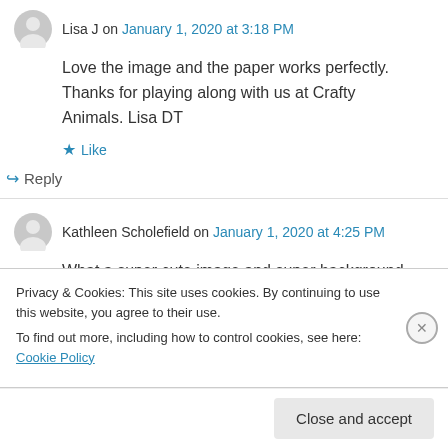Lisa J on January 1, 2020 at 3:18 PM
Love the image and the paper works perfectly. Thanks for playing along with us at Crafty Animals. Lisa DT
Like
Reply
Kathleen Scholefield on January 1, 2020 at 4:25 PM
What a super cute image and super background
Privacy & Cookies: This site uses cookies. By continuing to use this website, you agree to their use.
To find out more, including how to control cookies, see here: Cookie Policy
Close and accept